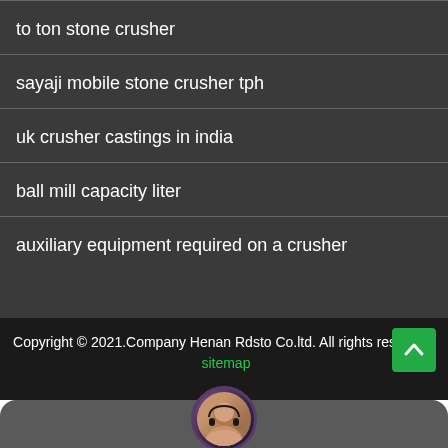to ton stone crusher
sayaji mobile stone crusher tph
uk crusher castings in india
ball mill capacity liter
auxiliary equipment required on a crusher
Copyright © 2021.Company Henan Rdsto Co.ltd. All rights reserved. sitemap
Leave Message
Chat Online